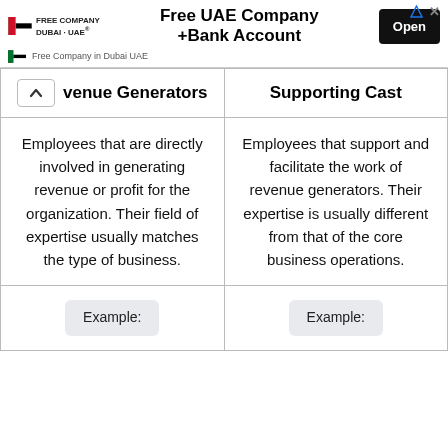[Figure (other): Advertisement banner for Free UAE Company Dubai - Free UAE Company + Bank Account with Open button]
| Revenue Generators | Supporting Cast |
| --- | --- |
| Employees that are directly involved in generating revenue or profit for the organization. Their field of expertise usually matches the type of business. | Employees that support and facilitate the work of revenue generators. Their expertise is usually different from that of the core business operations. |
| Example: | Example: |